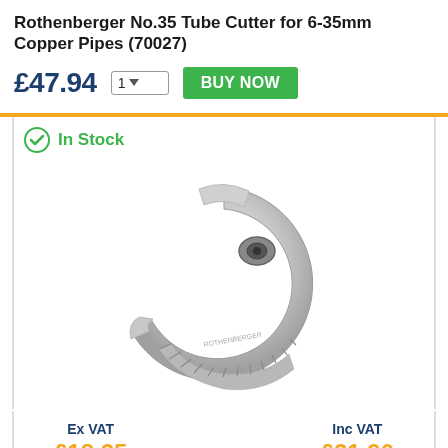Rothenberger No.35 Tube Cutter for 6-35mm Copper Pipes (70027)
£47.94
In Stock
[Figure (photo): Rothenberger No.35 tube cutter tool, C-shaped silver metallic pipe cutter with ridged roller wheel body]
Ex VAT £18.25
Inc VAT £21.90